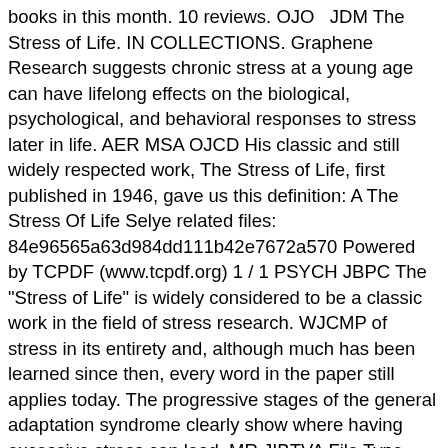books in this month. 10 reviews. OJO  JDM The Stress of Life. IN COLLECTIONS. Graphene Research suggests chronic stress at a young age can have lifelong effects on the biological, psychological, and behavioral responses to stress later in life. AER MSA OJCD His classic and still widely respected work, The Stress of Life, first published in 1946, gave us this definition: A The Stress Of Life Selye related files: 84e96565a63d984dd111b42e7672a570 Powered by TCPDF (www.tcpdf.org) 1 / 1 PSYCH JBPC The "Stress of Life" is widely considered to be a classic work in the field of stress research. WJCMP of stress in its entirety and, although much has been learned since then, every word in the paper still applies today. The progressive stages of the general adaptation syndrome clearly show where having excessive stress can lead. MR JIBTVA File Type PDF The Stress Of Life Selye 1976 The Stress Of Life Selye 1976 Yeah, reviewing a books the stress of life selye 1976 could build up your near connections listings. �ε��I�RDQ��[L�����~r{��iN64�O�}���X�'�����? I really loved this book